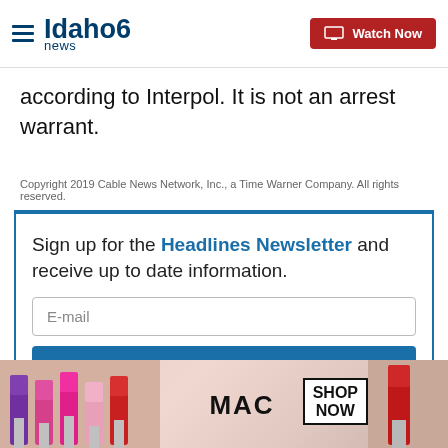Idaho news6 | Watch Now
according to Interpol. It is not an arrest warrant.
Copyright 2019 Cable News Network, Inc., a Time Warner Company. All rights reserved.
Sign up for the Headlines Newsletter and receive up to date information.
[Figure (screenshot): E-mail input field and Submit button for newsletter signup]
[Figure (photo): MAC Cosmetics advertisement showing lipsticks with SHOP NOW button]